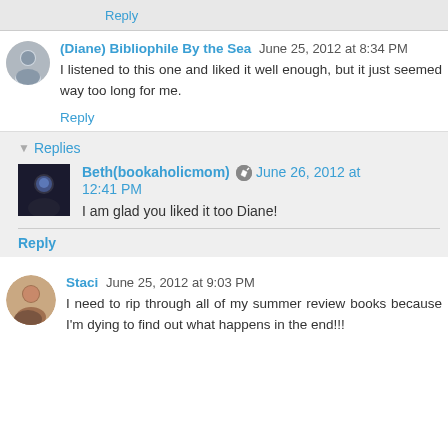Reply
(Diane) Bibliophile By the Sea June 25, 2012 at 8:34 PM
I listened to this one and liked it well enough, but it just seemed way too long for me.
Reply
Replies
Beth(bookaholicmom) June 26, 2012 at 12:41 PM
I am glad you liked it too Diane!
Reply
Staci June 25, 2012 at 9:03 PM
I need to rip through all of my summer review books because I'm dying to find out what happens in the end!!!